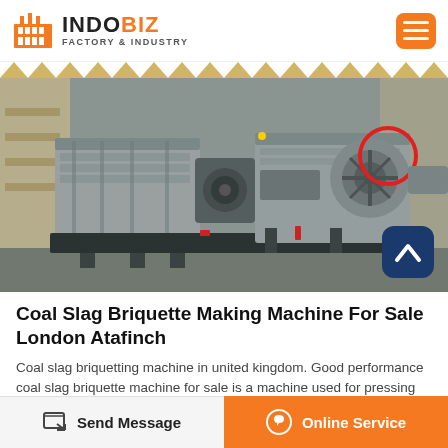INDOBIZ FACTORY & INDUSTRY
[Figure (photo): Industrial coal slag briquette making machine (roller press) in gray painted heavy steel construction, photographed outdoors on a concrete surface. A red circle highlights part of the machinery on the right side.]
Coal Slag Briquette Making Machine For Sale London Atafinch
Coal slag briquetting machine in united kingdom. Good performance coal slag briquette machine for sale is a machine used for pressing the powdery materials into pellets all the
Send Message | Online Service